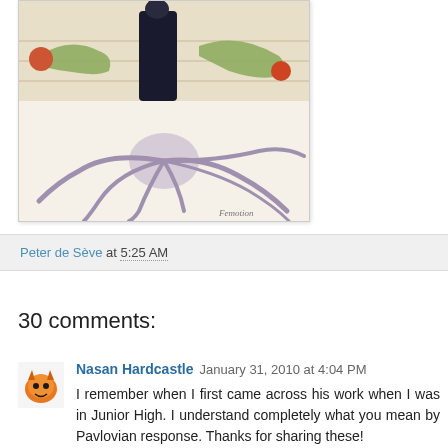[Figure (illustration): Illustration showing a dark figure standing over two reclining nude figures on steps, with a large octopus-like creature with tentacles in the foreground. Sketch/watercolor style artwork with artist signature at bottom.]
Peter de Sève at 5:25 AM
30 comments:
Nasan Hardcastle January 31, 2010 at 4:04 PM
I remember when I first came across his work when I was in Junior High. I understand completely what you mean by Pavlovian response. Thanks for sharing these!